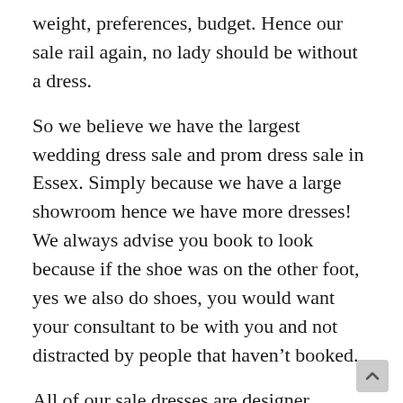weight, preferences, budget. Hence our sale rail again, no lady should be without a dress.
So we believe we have the largest wedding dress sale and prom dress sale in Essex. Simply because we have a large showroom hence we have more dresses! We always advise you book to look because if the shoe was on the other foot, yes we also do shoes, you would want your consultant to be with you and not distracted by people that haven't booked.
All of our sale dresses are designer dresses. They have been tried on as they are our sample dresses. So we have heavily discounted the price to reflect the fact there could be a bead missing etc. What's the catc' See what I did there? ...There is none. We carefully